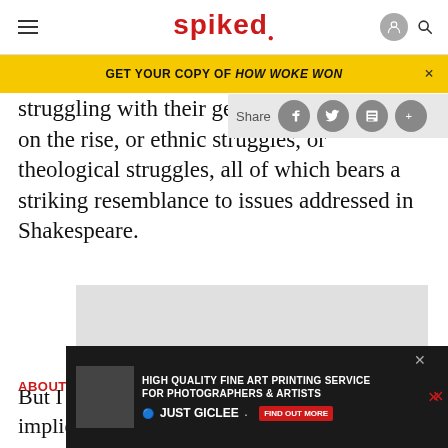spiked
GET YOUR COPY OF HOW WOKE WON
struggling with their gender identity on the rise, or ethnic struggles, or theological struggles, all of which bears a striking resemblance to issues addressed in Shakespeare.
[Figure (other): Gray advertisement placeholder box]
But I never use the word universal because it implies that...
ABOUT
[Figure (other): Bottom advertisement for High Quality Fine Art Printing Service - Just Giclee]